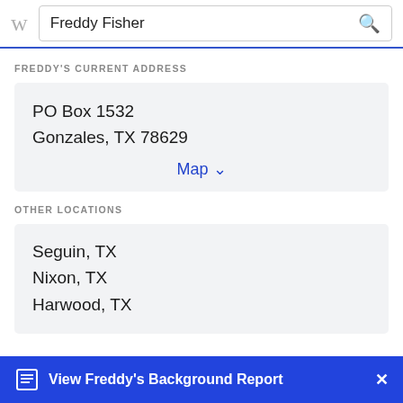Freddy Fisher
FREDDY'S CURRENT ADDRESS
PO Box 1532
Gonzales, TX 78629
Map
OTHER LOCATIONS
Seguin, TX
Nixon, TX
Harwood, TX
View Freddy's Background Report